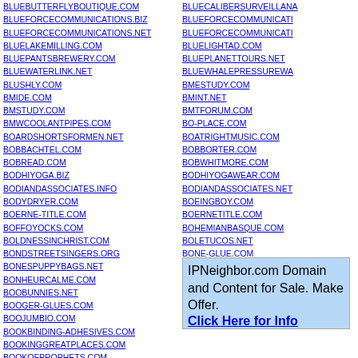BLUEBUTTERFLYBOUTIQUE.COM
BLUEFORCECOMMUNICATIONS.BIZ
BLUEFORCECOMMUNICATIONS.NET
BLUELAKEMILLING.COM
BLUEPANTSBREWERY.COM
BLUEWATERLINK.NET
BLUSHLY.COM
BMIDE.COM
BMSTUDY.COM
BMWCOOLANTPIPES.COM
BOARDSHORTSFORMEN.NET
BOBBACHTEL.COM
BOBREAD.COM
BODHIYOGA.BIZ
BODIANDASSOCIATES.INFO
BODYDRYER.COM
BOERNE-TITLE.COM
BOFFOYOCKS.COM
BOLDNESSINCHRIST.COM
BONDSTREETSINGERS.ORG
BONESPUPPYBAGS.NET
BONHEURCALME.COM
BOOBUNNIES.NET
BOOGER-GLUES.COM
BOOJUMBIO.COM
BOOKBINDING-ADHESIVES.COM
BOOKINGGREATPLACES.COM
BOOKOFPROPHETS.COM
BLUECALIBERSURVEILLANCE (truncated)
BLUEFORCECOMMUNICATIONS (truncated)
BLUEFORCECOMMUNICATIONS (truncated)
BLUELIGHTAD.COM
BLUEPLANETTOURS.NET
BLUEWHALEPRESSUREWA (truncated)
BMESTUDY.COM
BMINT.NET
BMTFORUM.COM
BO-PLACE.COM
BOATRIGHTMUSIC.COM
BOBBORTER.COM
BOBWHITMORE.COM
BODHIYOGAWEAR.COM
BODIANDASSOCIATES.NET
BOEINGBOY.COM
BOERNETITLE.COM
BOHEMIANBASQUE.COM
BOLETUCOS.NET
BONE-GLUE.COM
BONFIRETICKETS.COM
BONSPLANSTURQUIE.COM
BOOBUNNIES.ORG
[Figure (other): IPNeighbor.com advertisement box: 'IPNeighbor.com Domain and Content for Sale. Make Offer. Click Here for Info']